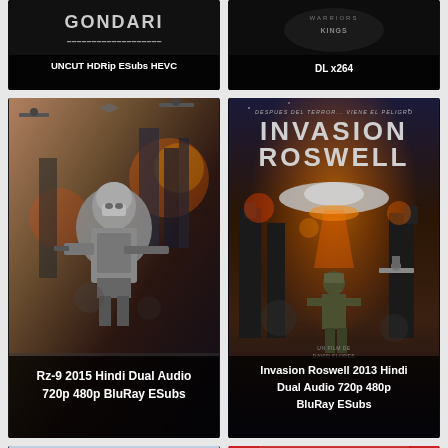[Figure (screenshot): Movie poster card - top left: dark background with text overlay 'UNCUT HDRip ESubs HEVC']
[Figure (screenshot): Movie poster card - top right: dark background with warrior/kings logo and text 'DL x264']
[Figure (screenshot): Movie poster card - middle left: Rz-9 2015 sci-fi action poster with armored soldier, text overlay 'Rz-9 2015 Hindi Dual Audio 720p 480p BluRay ESubs']
[Figure (screenshot): Movie poster card - middle right: Invasion Roswell 2013 poster with soldier and alien ship, text 'Invasion Roswell 2013 Hindi Dual Audio 720p 480p BluRay ESubs']
[Figure (screenshot): Movie poster card - bottom left: Asian action movie with young male protagonist in grey shirt against blue/grey background]
[Figure (screenshot): Movie poster card - bottom right: Indian family group photo with red stage curtain background]